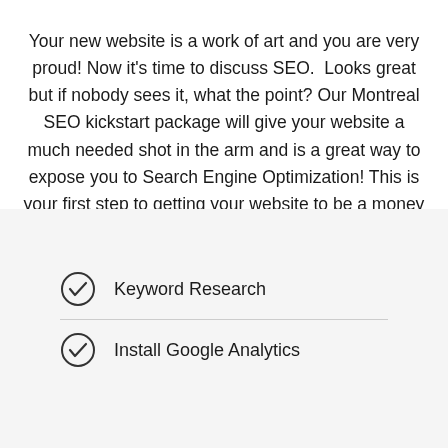Your new website is a work of art and you are very proud! Now it's time to discuss SEO.  Looks great but if nobody sees it, what the point? Our Montreal SEO kickstart package will give your website a much needed shot in the arm and is a great way to expose you to Search Engine Optimization! This is your first step to getting your website to be a money generating machine, pay for itself and set you on the right track.
Keyword Research
Install Google Analytics